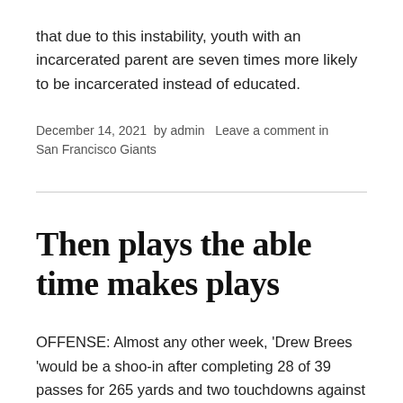that due to this instability, youth with an incarcerated parent are seven times more likely to be incarcerated instead of educated.
December 14, 2021  by admin  Leave a comment in San Francisco Giants
Then plays the able time makes plays
OFFENSE: Almost any other week, 'Drew Brees 'would be a shoo-in after completing 28 of 39 passes for 265 yards and two touchdowns against one of the stingiest,